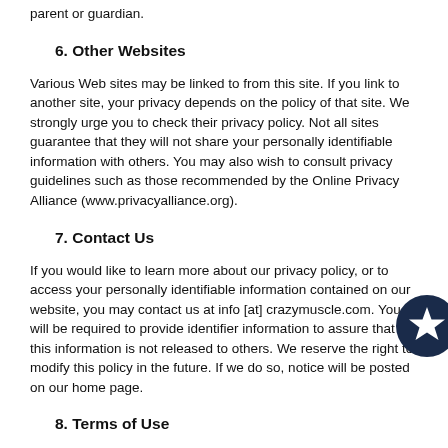parent or guardian.
6. Other Websites
Various Web sites may be linked to from this site. If you link to another site, your privacy depends on the policy of that site. We strongly urge you to check their privacy policy. Not all sites guarantee that they will not share your personally identifiable information with others. You may also wish to consult privacy guidelines such as those recommended by the Online Privacy Alliance (www.privacyalliance.org).
7. Contact Us
If you would like to learn more about our privacy policy, or to access your personally identifiable information contained on our website, you may contact us at info [at] crazymuscle.com. You will be required to provide identifier information to assure that this information is not released to others. We reserve the right to modify this policy in the future. If we do so, notice will be posted on our home page.
8. Terms of Use